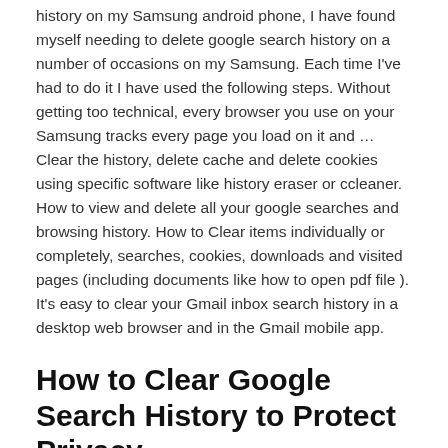history on my Samsung android phone, I have found myself needing to delete google search history on a number of occasions on my Samsung. Each time I've had to do it I have used the following steps. Without getting too technical, every browser you use on your Samsung tracks every page you load on it and … Clear the history, delete cache and delete cookies using specific software like history eraser or ccleaner. How to view and delete all your google searches and browsing history. How to Clear items individually or completely, searches, cookies, downloads and visited pages (including documents like how to open pdf file ). It's easy to clear your Gmail inbox search history in a desktop web browser and in the Gmail mobile app.
How to Clear Google Search History to Protect Privacy
...